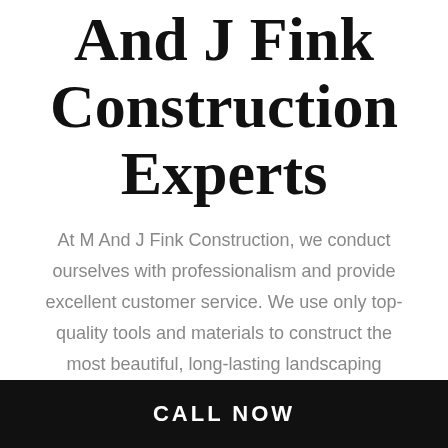And J Fink Construction Experts
At M And J Fink Construction, we conduct ourselves with professionalism and provide excellent customer service. We use only top-quality tools and materials to construct the most beautiful, long-lasting landscaping enhancements. We don't rush any phase of the project but work to get it completed efficiently, so you can begin enjoying your new space in no time.
CALL NOW